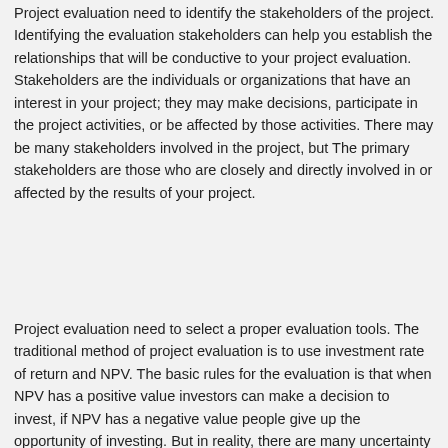Project evaluation need to identify the stakeholders of the project. Identifying the evaluation stakeholders can help you establish the relationships that will be conductive to your project evaluation. Stakeholders are the individuals or organizations that have an interest in your project; they may make decisions, participate in the project activities, or be affected by those activities. There may be many stakeholders involved in the project, but The primary stakeholders are those who are closely and directly involved in or affected by the results of your project.
Project evaluation need to select a proper evaluation tools. The traditional method of project evaluation is to use investment rate of return and NPV. The basic rules for the evaluation is that when NPV has a positive value investors can make a decision to invest, if NPV has a negative value people give up the opportunity of investing. But in reality, there are many uncertainty factors an the